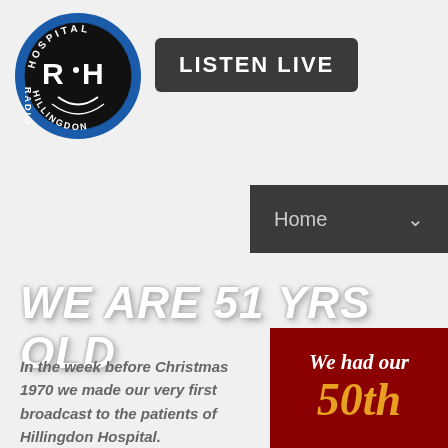[Figure (logo): Hospital Radio Hillingdon circular logo with R·H letters and radio waves on blue background]
LISTEN LIVE
Home
WE ARE 51 YRS OLD
In the week before Christmas 1970 we made our very first broadcast to the patients of Hillingdon Hospital.
We had our 50th